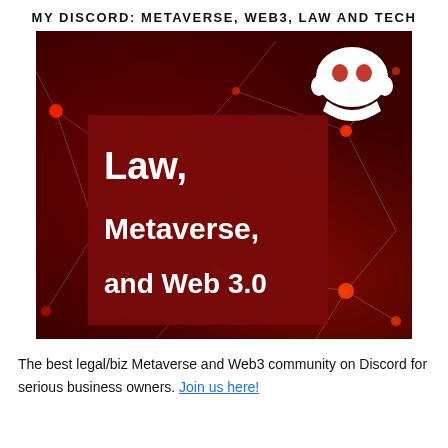MY DISCORD: METAVERSE, WEB3, LAW AND TECH
[Figure (illustration): Promotional image showing a dark red network/neural background with glowing red nodes and white connecting lines. A dark red overlay box contains bold white text reading 'Law, Metaverse, and Web 3.0'. The white Discord logo (ghost-like face icon) is visible in the upper right area of the image.]
The best legal/biz Metaverse and Web3 community on Discord for serious business owners. Join us here!